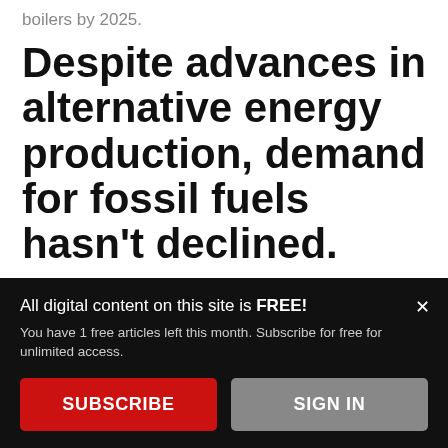boilers by 2025.
Despite advances in alternative energy production, demand for fossil fuels hasn't declined.
All digital content on this site is FREE!
You have 1 free articles left this month. Subscribe for free for unlimited access.
SUBSCRIBE
SIGN IN